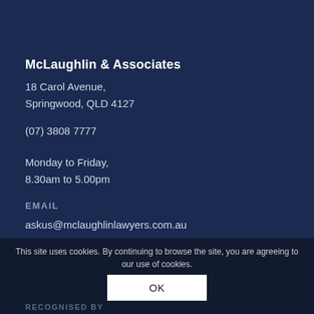McLaughlin & Associates
18 Carol Avenue,
Springwood, QLD 4127
(07) 3808 7777
Monday to Friday,
8.30am to 5.00pm
EMAIL
askus@mclaughlinlawyers.com.au
This site uses cookies. By continuing to browse the site, you are agreeing to our use of cookies.
OK
RECOGNISED BY